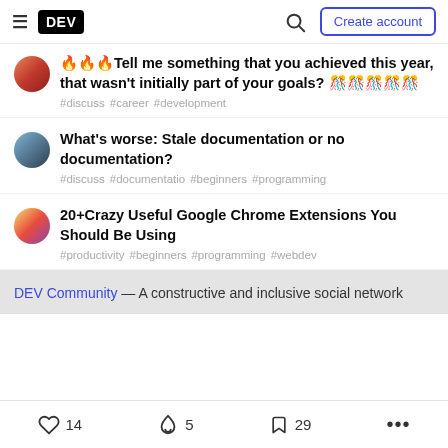DEV — Create account
🔥🔥🔥Tell me something that you achieved this year, that wasn't initially part of your goals? 🎊🎊🎊🎊🎊
#discuss #career #development
What's worse: Stale documentation or no documentation?
#discuss #documentatio #beginners #programming
20+Crazy Useful Google Chrome Extensions You Should Be Using
#productivity #beginners #programming #webdev
DEV Community — A constructive and inclusive social network
❤ 14   🔥 5   🔖 29   ...